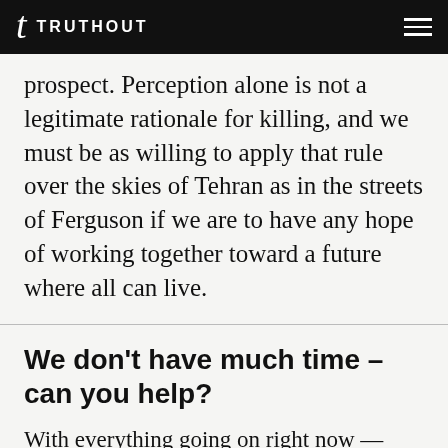TRUTHOUT
prospect. Perception alone is not a legitimate rationale for killing, and we must be as willing to apply that rule over the skies of Tehran as in the streets of Ferguson if we are to have any hope of working together toward a future where all can live.
We don't have much time – can you help?
With everything going on right now — from